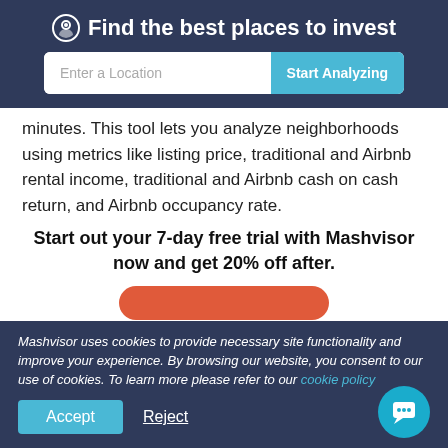Find the best places to invest
[Figure (screenshot): Search bar with 'Enter a Location' input field and 'Start Analyzing' button]
minutes. This tool lets you analyze neighborhoods using metrics like listing price, traditional and Airbnb rental income, traditional and Airbnb cash on cash return, and Airbnb occupancy rate.
Start out your 7-day free trial with Mashvisor now and get 20% off after.
[Figure (screenshot): Red rounded button partially visible at bottom of main content area]
Mashvisor uses cookies to provide necessary site functionality and improve your experience. By browsing our website, you consent to our use of cookies. To learn more please refer to our cookie policy
Accept
Reject